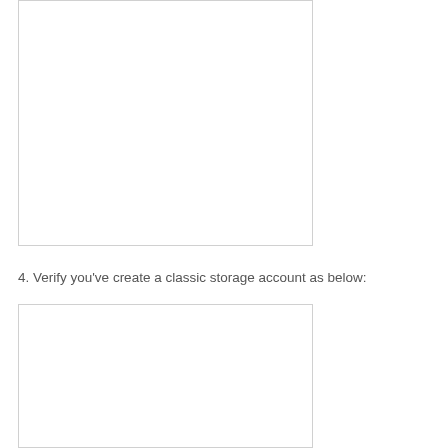[Figure (screenshot): A bordered white rectangle representing a screenshot placeholder at the top of the page.]
4. Verify you've create a classic storage account as below:
[Figure (screenshot): A bordered white rectangle representing a screenshot placeholder at the bottom of the page.]